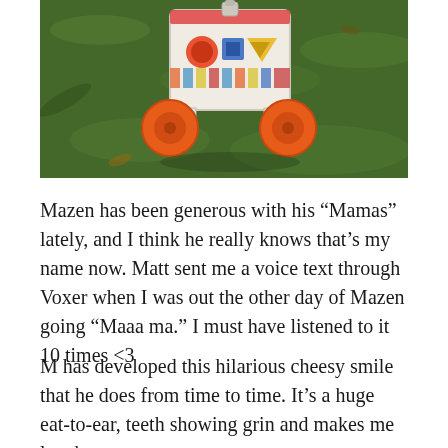[Figure (photo): A colorful vintage Fisher-Price toy shape sorter/wagon with orange wheels lying on green grass, photographed from above at an angle.]
Mazen has been generous with his “Mamas” lately, and I think he really knows that’s my name now. Matt sent me a voice text through Voxer when I was out the other day of Mazen going “Maaa ma.” I must have listened to it 10 times <3
M has developed this hilarious cheesy smile that he does from time to time. It’s a huge eat-to-ear, teeth showing grin and makes me laugh.